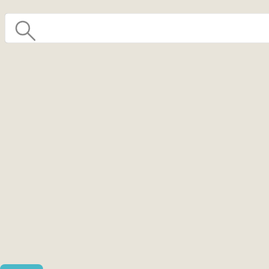[Figure (screenshot): Search bar with magnifying glass icon and white input field on beige background]
[Figure (screenshot): Teal/cyan Search button]
[Figure (continuous-plot): Partial scatter/line graph visible in top right corner with x-axis labels 0, 10, 20]
See related essays
[Figure (other): Graph paper style grid with y-axis labels 16 through 22, dark grid lines on beige background]